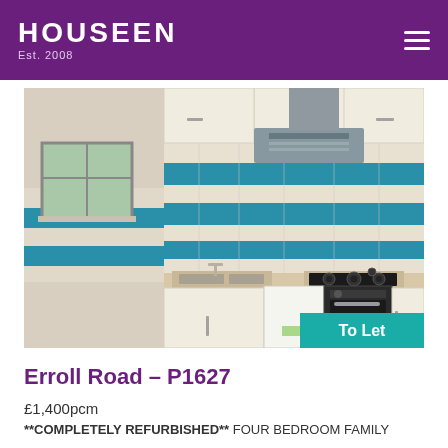HOUSEEN Est. 2008
[Figure (photo): Interior photo of a refurbished kitchen with white gloss cabinets, blue and white striped tiles, gas hob, oven, extractor hood, and a window. A 'To Let' teal badge is in the bottom right corner.]
Erroll Road – P1627
£1,400pcm
**COMPLETELY REFURBISHED** FOUR BEDROOM FAMILY